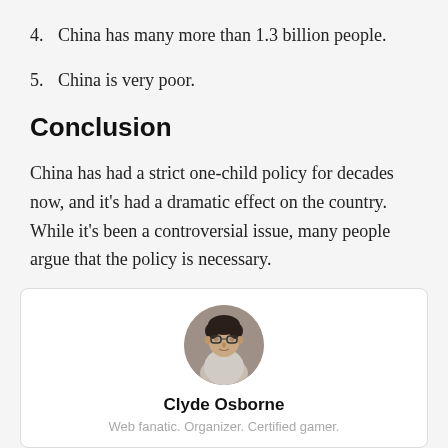4. China has many more than 1.3 billion people.
5. China is very poor.
Conclusion
China has had a strict one-child policy for decades now, and it’s had a dramatic effect on the country. While it’s been a controversial issue, many people argue that the policy is necessary.
[Figure (photo): Circular portrait photo of a young Asian man with glasses and dark hair, wearing a light grey sweater, outdoor background.]
Clyde Osborne
Web fanatic. Organizer. Certified gamer.